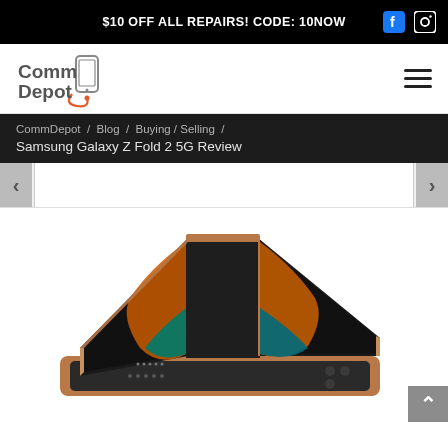$10 OFF ALL REPAIRS! CODE: 10NOW
[Figure (logo): CommDepot logo with stethoscope phone icon]
CommDepot / Blog / Buying / Selling / Samsung Galaxy Z Fold 2 5G Review
Samsung Galaxy Z Fold 2 5G Review
[Figure (photo): Samsung Galaxy Z Fold 2 5G foldable smartphone shown open in bronze/gold color with colorful wallpaper visible on inner display, stacked on another device]